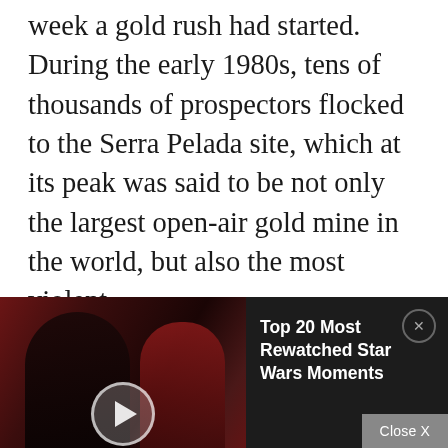week a gold rush had started. During the early 1980s, tens of thousands of prospectors flocked to the Serra Pelada site, which at its peak was said to be not only the largest open-air gold mine in the world, but also the most violent.
At first, the...
[Figure (screenshot): Video ad overlay: WatchMojo 'Top 20 Most Rewatched Star Wars Moments' video thumbnail showing Star Wars characters in red tones, with play button, Mojo logo, and 'Top 20!' text. Right panel shows ad title text on dark background with close X circle button.]
end of a dirt track; from there, they would walk the remaining distance—some 15